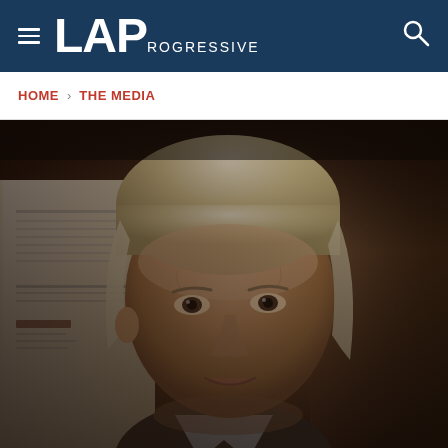LA Progressive
HOME › THE MEDIA
[Figure (photo): Close-up photograph of a middle-aged man with silver-blond hair holding a newspaper or document, facing the camera with a brick wall visible in the background. The image appears to be of Julian Assange.]